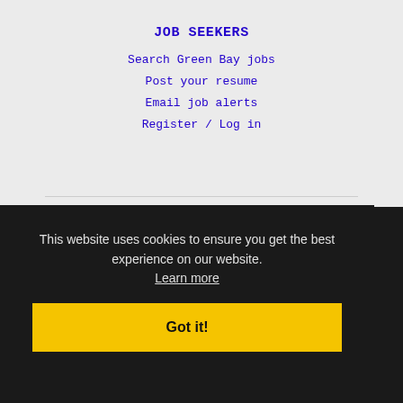JOB SEEKERS
Search Green Bay jobs
Post your resume
Email job alerts
Register / Log in
EMPLOYERS
This website uses cookies to ensure you get the best experience on our website.
Learn more
e alerts
Advertise
Got it!
IMMIGRATION SPECIALISTS